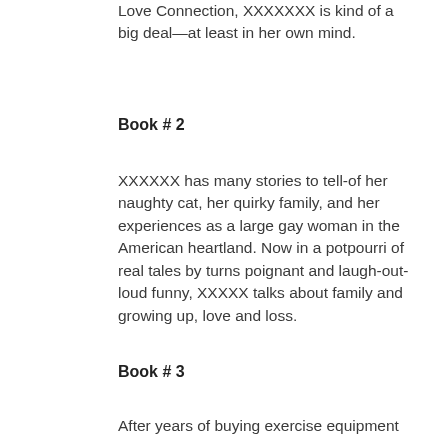Love Connection, XXXXXXX is kind of a big deal—at least in her own mind.
Book # 2
XXXXXX has many stories to tell-of her naughty cat, her quirky family, and her experiences as a large gay woman in the American heartland. Now in a potpourri of real tales by turns poignant and laugh-out-loud funny, XXXXX talks about family and growing up, love and loss.
Book # 3
After years of buying exercise equipment